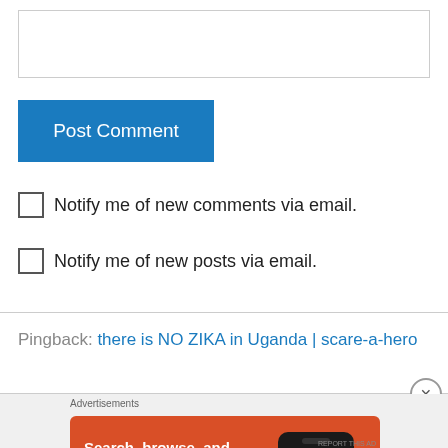[Figure (screenshot): Text input area (comment box), empty white rectangular input field with border]
[Figure (screenshot): Blue 'Post Comment' button]
Notify me of new comments via email.
Notify me of new posts via email.
Pingback: there is NO ZIKA in Uganda | scare-a-hero
[Figure (screenshot): DuckDuckGo advertisement banner: Search, browse, and email with more privacy. All in One Free App. DuckDuckGo.]